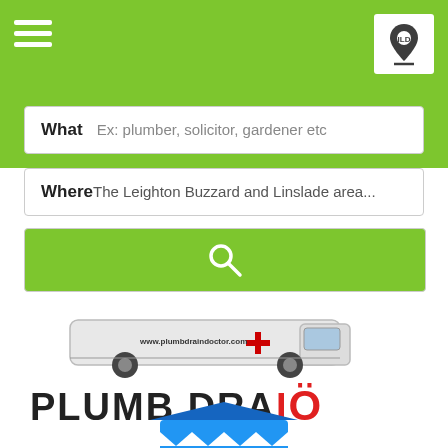[Figure (screenshot): Green navigation header bar with white hamburger menu icon on left and location pin logo (ILD) on right in white box]
What  Ex: plumber, solicitor, gardener etc
Where The Leighton Buzzard and Linslade area...
[Figure (screenshot): Green search button with magnifying glass icon]
[Figure (photo): White plumber van with red cross and website URL www.plumbdraindoctor.com on the side]
PLUMB DRAIÖ
[Figure (illustration): Illustration of a blue and white shop front / directory listing icon]